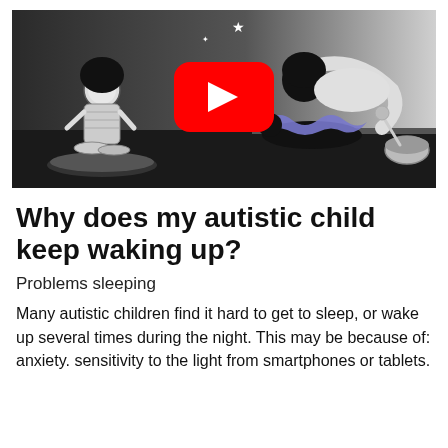[Figure (illustration): Animated-style illustration showing a person sitting cross-legged on a bed at night with stars, a YouTube play button overlay, and another scene showing a person hunched over a bowl with a child lying down, rendered in black and white with blue accents.]
Why does my autistic child keep waking up?
Problems sleeping
Many autistic children find it hard to get to sleep, or wake up several times during the night. This may be because of: anxiety. sensitivity to the light from smartphones or tablets.